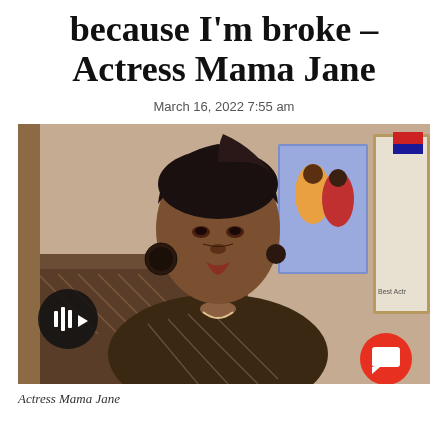because I'm broke – Actress Mama Jane
March 16, 2022 7:55 am
[Figure (photo): Actress Mama Jane seated indoors wearing a dark patterned top with large circular earrings, artwork visible on wall behind her. A play button icon and a chat icon are overlaid on the image.]
Actress Mama Jane